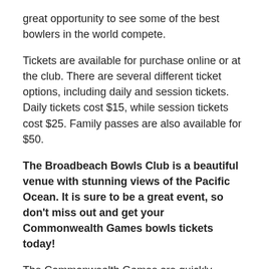great opportunity to see some of the best bowlers in the world compete.
Tickets are available for purchase online or at the club. There are several different ticket options, including daily and session tickets. Daily tickets cost $15, while session tickets cost $25. Family passes are also available for $50.
The Broadbeach Bowls Club is a beautiful venue with stunning views of the Pacific Ocean. It is sure to be a great event, so don't miss out and get your Commonwealth Games bowls tickets today!
The Commonwealth Games are quickly approaching and tickets for the bowls events are